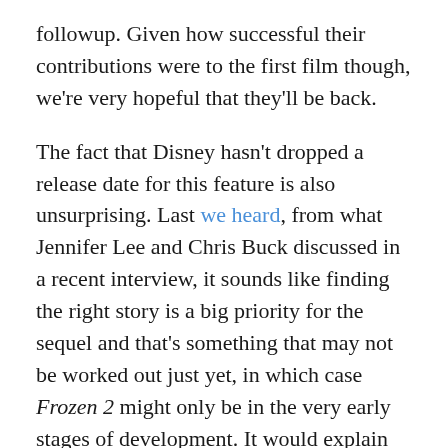followup. Given how successful their contributions were to the first film though, we're very hopeful that they'll be back.
The fact that Disney hasn't dropped a release date for this feature is also unsurprising. Last we heard, from what Jennifer Lee and Chris Buck discussed in a recent interview, it sounds like finding the right story is a big priority for the sequel and that's something that may not be worked out just yet, in which case Frozen 2 might only be in the very early stages of development. It would explain the lack of confirmation of almost everything beyond the plans to make the film and the directors and producer's involvement. But from what John Lasseter said at Disney's Annual Meeting of Shareholders today, it sounds like they have come up with an idea for the story, and it involves a return to